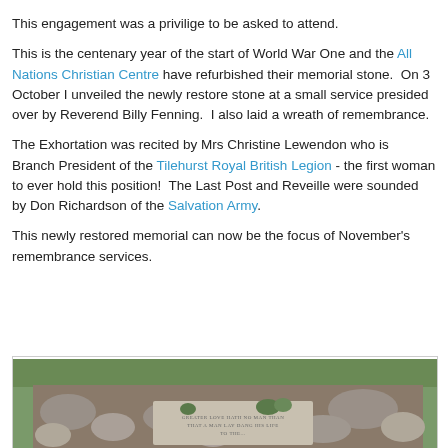This engagement was a privilige to be asked to attend.
This is the centenary year of the start of World War One and the All Nations Christian Centre have refurbished their memorial stone.  On 3 October I unveiled the newly restore stone at a small service presided over by Reverend Billy Fenning.  I also laid a wreath of remembrance.
The Exhortation was recited by Mrs Christine Lewendon who is  Branch President of the Tilehurst Royal British Legion - the first woman to ever hold this position!  The Last Post and Reveille were sounded by Don Richardson of the Salvation Army.
This newly restored memorial can now be the focus of November's remembrance services.
[Figure (photo): Photograph of a refurbished memorial stone surrounded by rocks and plants, with grass in the background. The stone has an inscription visible at the bottom.]